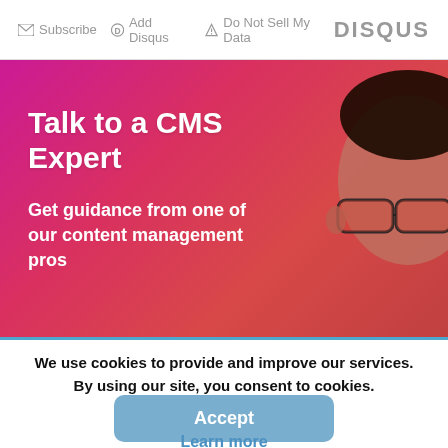Subscribe  Add Disqus  Do Not Sell My Data   DISQUS
[Figure (photo): Advertisement banner with pink-to-red gradient background and a person with glasses partially visible on the right side. Text reads 'Talk to a CMS Expert' and 'Get guidance from one of our content management pros']
We use cookies to provide and improve our services. By using our site, you consent to cookies.
Accept
Learn more